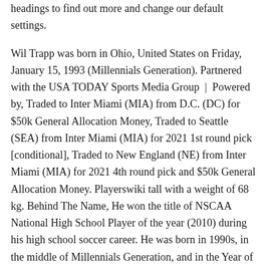headings to find out more and change our default settings.
Wil Trapp was born in Ohio, United States on Friday, January 15, 1993 (Millennials Generation). Partnered with the USA TODAY Sports Media Group | Powered by, Traded to Inter Miami (MIA) from D.C. (DC) for $50k General Allocation Money, Traded to Seattle (SEA) from Inter Miami (MIA) for 2021 1st round pick [conditional], Traded to New England (NE) from Inter Miami (MIA) for 2021 4th round pick and $50k General Allocation Money. Playerswiki tall with a weight of 68 kg. Behind The Name, He won the title of NSCAA National High School Player of the year (2010) during his high school soccer career. He was born in 1990s, in the middle of Millennials Generation, and in the Year of the Rooster. You can set your browser to block or alert you about these cookies, but some parts of the site will not then work. The information does not usually directly identify you, but it can give you a more personalised web experience. Florida Panthers Logo History, Fifa 19 Career Mode Potential, William Alexander “Wil” Trapp is an American professional soccer player who plays as a midfielder for Columbus Crew